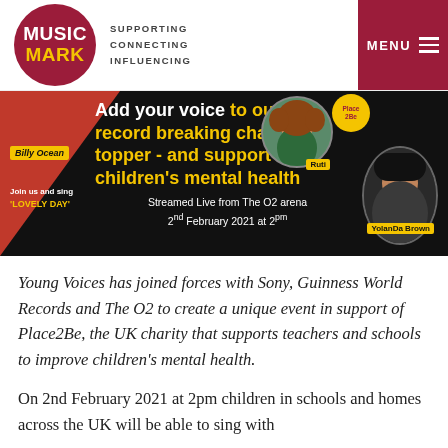MUSIC MARK – SUPPORTING CONNECTING INFLUENCING | MENU
[Figure (photo): Young Voices event banner for record-breaking charity sing-along at The O2. Features artists Billy Ocean, Ruti, and YolanDa Brown. Text: Add your voice to our record breaking chart topper - and support children's mental health. Streamed Live from The O2 arena 2nd February 2021 at 2pm. Join us and sing 'LOVELY DAY'.]
Young Voices has joined forces with Sony, Guinness World Records and The O2 to create a unique event in support of Place2Be, the UK charity that supports teachers and schools to improve children's mental health.
On 2nd February 2021 at 2pm children in schools and homes across the UK will be able to sing with